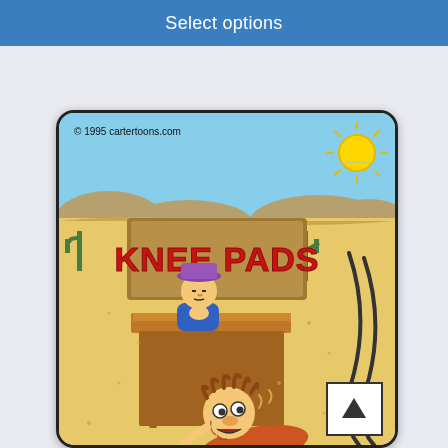Select options
[Figure (illustration): A comic cartoon by cartertoons.com (© 1995) showing a desert scene. A bored vendor sits behind a wooden stand with a sign reading 'KNEE PADS' in large red letters. The desert landscape has cacti, sand, and a winding road. In the foreground, a disheveled person is crawling/dragging themselves across the hot desert sand toward the stand.]